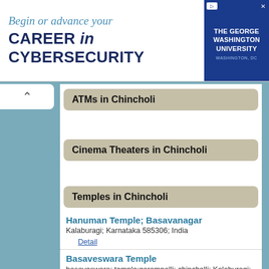[Figure (infographic): Advertisement banner for The George Washington University: 'Begin or advance your CAREER in CYBERSECURITY', with GWU logo on the right side.]
ATMs in Chincholi
Cinema Theaters in Chincholi
Temples in Chincholi
Hanuman Temple; Basavanagar
Kalaburagi; Karnataka 585306; India
Detail
Basaveswara Temple
basaveswara; temple;garampalli; chincholli; Kalaburagi; Karnataka 585306; India
Detail
Hanuman Temple
garampalli; chincholli;; Gulburga; Karnataka; India
Detail
Gudi Palace